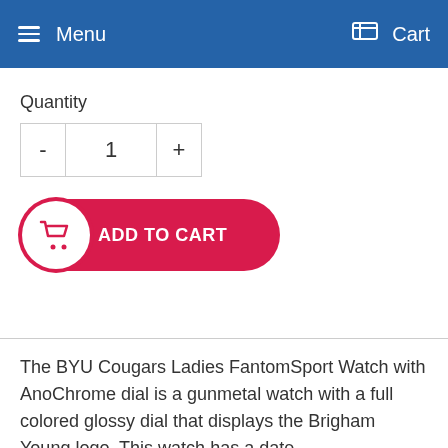Menu   Cart
Quantity
[Figure (screenshot): Quantity stepper control with minus (-), value (1), and plus (+) buttons]
[Figure (other): Add to Cart button with shopping cart icon and red pill-shaped background]
The BYU Cougars Ladies FantomSport Watch with AnoChrome dial is a gunmetal watch with a full colored glossy dial that displays the Brigham Young logo. This watch has a date